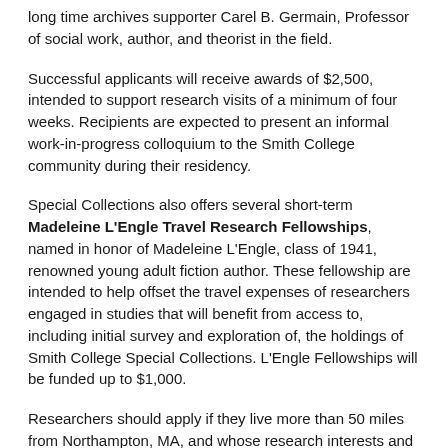long time archives supporter Carel B. Germain, Professor of social work, author, and theorist in the field.
Successful applicants will receive awards of $2,500, intended to support research visits of a minimum of four weeks. Recipients are expected to present an informal work-in-progress colloquium to the Smith College community during their residency.
Special Collections also offers several short-term Madeleine L'Engle Travel Research Fellowships, named in honor of Madeleine L'Engle, class of 1941, renowned young adult fiction author. These fellowship are intended to help offset the travel expenses of researchers engaged in studies that will benefit from access to, including initial survey and exploration of, the holdings of Smith College Special Collections. L'Engle Fellowships will be funded up to $1,000.
Researchers should apply if they live more than 50 miles from Northampton, MA, and whose research interests and objectives would be significantly advanced by extended work in the holdings of Special Collections. Fellowships